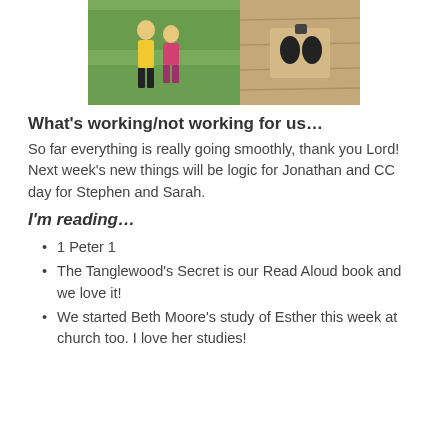[Figure (photo): Two children standing on a green field; a boy in a yellow shirt and a girl in a pink shirt.]
[Figure (photo): Close-up of small electronic components or devices on a wooden surface.]
What's working/not working for us…
So far everything is really going smoothly, thank you Lord!  Next week's new things will be logic for Jonathan and CC day for Stephen and Sarah.
I'm reading…
1 Peter 1
The Tanglewood's Secret is our Read Aloud book and we love it!
We started Beth Moore's study of Esther this week at church too.  I love her studies!